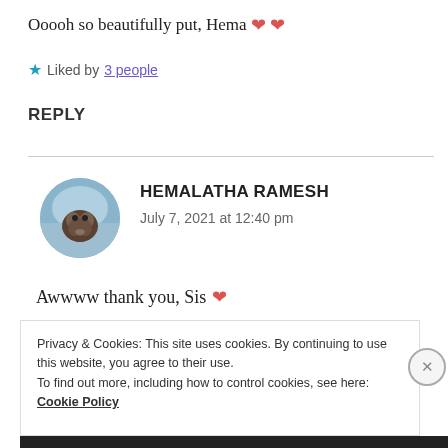Ooooh so beautifully put, Hema ❤️❤️
★ Liked by 3 people
REPLY
[Figure (photo): Circular avatar photo of Hemalatha Ramesh showing a bird/otter against a blue sky background]
HEMALATHA RAMESH
July 7, 2021 at 12:40 pm
Awwww thank you, Sis ❤️
Privacy & Cookies: This site uses cookies. By continuing to use this website, you agree to their use.
To find out more, including how to control cookies, see here: Cookie Policy
Close and accept